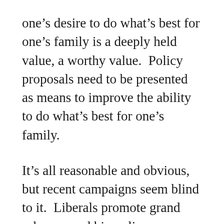one’s desire to do what’s best for one’s family is a deeply held value, a worthy value.  Policy proposals need to be presented as means to improve the ability to do what’s best for one’s family.
It’s all reasonable and obvious, but recent campaigns seem blind to it.  Liberals promote grand schemes and big policy initiatives, each of which may be vitally important to the future of the nation.  But they avoid explaining in concrete, tangible ways how their plans